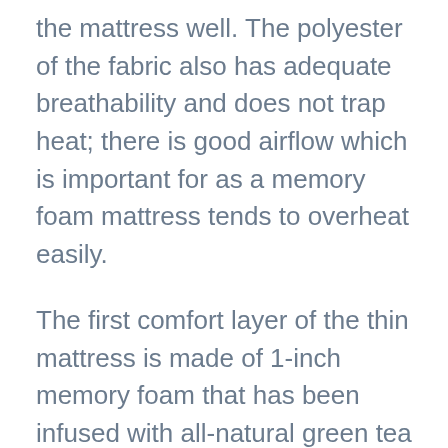the mattress well. The polyester of the fabric also has adequate breathability and does not trap heat; there is good airflow which is important for as a memory foam mattress tends to overheat easily.
The first comfort layer of the thin mattress is made of 1-inch memory foam that has been infused with all-natural green tea extract. Zinus uses green tea extract in their mattress to act as a natural deodorizer and as an